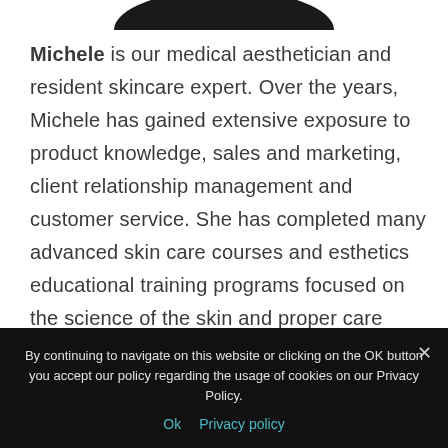[Figure (photo): Bottom portion of a circular profile photo showing a dark silhouette/head against white background]
Michele is our medical aesthetician and resident skincare expert. Over the years, Michele has gained extensive exposure to product knowledge, sales and marketing, client relationship management and customer service. She has completed many advanced skin care courses and esthetics educational training programs focused on the science of the skin and proper care techniques for healthy and happy skin.
By continuing to navigate on this website or clicking on the OK button you accept our policy regarding the usage of cookies on our Privacy Policy.
Ok   Privacy policy